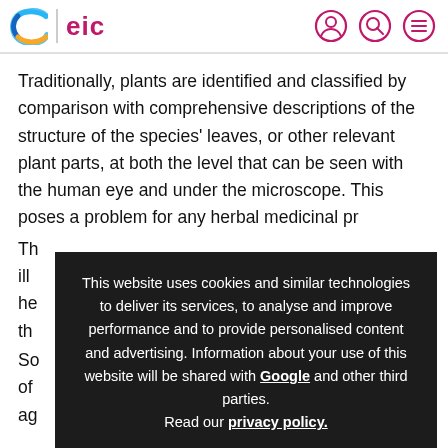eic
Traditionally, plants are identified and classified by comparison with comprehensive descriptions of the structure of the species' leaves, or other relevant plant parts, at both the level that can be seen with the human eye and under the microscope. This poses a problem for any herbal medicinal pr[oduct]...
Th[e]... ill[ustration]... he[lp]... of... th[e]...
So[me]... ne of... ag[ree]...
This website uses cookies and similar technologies to deliver its services, to analyse and improve performance and to provide personalised content and advertising. Information about your use of this website will be shared with Google and other third parties. Read our privacy policy.